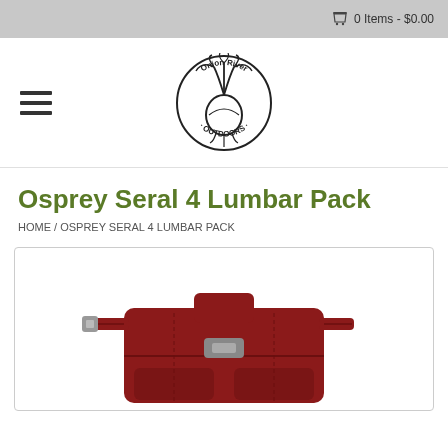0 Items - $0.00
[Figure (logo): Onion River Outdoors circular logo with onion plant illustration and text around the border]
Osprey Seral 4 Lumbar Pack
HOME / OSPREY SERAL 4 LUMBAR PACK
[Figure (photo): Red Osprey Seral 4 Lumbar Pack product photo showing the back of the pack with straps and buckle visible against a white background]